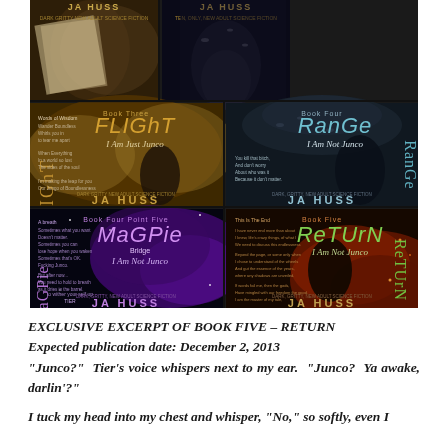[Figure (illustration): A 2x3 grid collage of science fiction book covers by JA Huss. Top row: Books 1 and 2 (unnamed, dark covers). Middle row: Book Three 'Flight - I Am Just Junco' (angel wings, girl looking up) and Book Four 'Range - I Am Not Junco' (stormy sky, figure). Bottom row: Book Four Point Five 'MaGPie Bridge - I Am Not Junco' (purple nebula) and Book Five 'ReTUrN - I Am Not Junco' (fiery background, dark figure). All covers feature 'JA HUSS' branding.]
EXCLUSIVE EXCERPT OF BOOK FIVE – RETURN
Expected publication date: December 2, 2013
“Junco?”  Tier’s voice whispers next to my ear.  “Junco?  Ya awake, darlin’?”
I tuck my head into my chest and whisper, “No,” so softly, even I